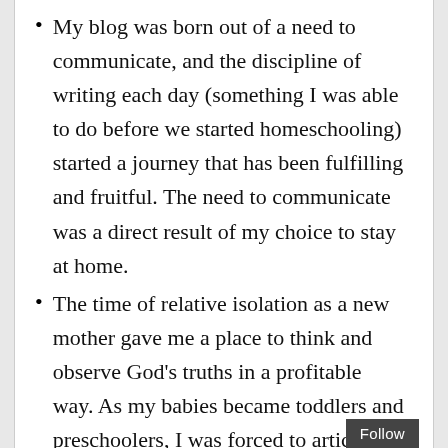My blog was born out of a need to communicate, and the discipline of writing each day (something I was able to do before we started homeschooling) started a journey that has been fulfilling and fruitful. The need to communicate was a direct result of my choice to stay at home.
The time of relative isolation as a new mother gave me a place to think and observe God’s truths in a profitable way. As my babies became toddlers and preschoolers, I was forced to articulate God’s truth simply. Children don’t politely ignore meaningless rhetoric!